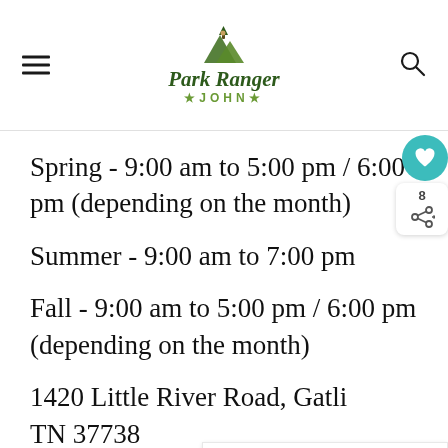Park Ranger John
Spring - 9:00 am to 5:00 pm / 6:00 pm (depending on the month)
Summer - 9:00 am to 7:00 pm
Fall - 9:00 am to 5:00 pm / 6:00 pm (depending on the month)
1420 Little River Road, Gatlin... TN 37738